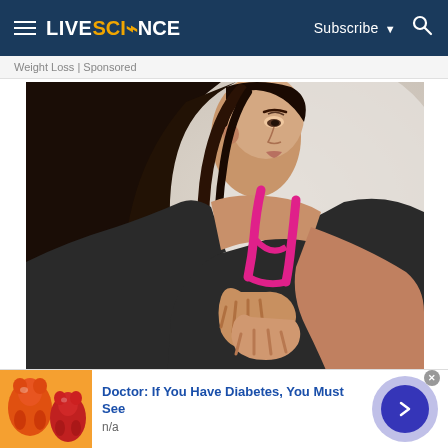LIVESCIENCE  Subscribe  🔍
Weight Loss | Sponsored
[Figure (photo): A young woman in a dark sports bra with pink straps clutching her chest with both hands, appearing to be in pain or discomfort, photographed against a light grey background.]
The First Red Flag Of Metastatic Breast
Doctor: If You Have Diabetes, You Must See
n/a